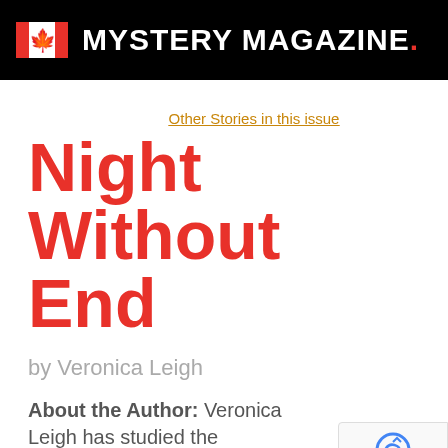MYSTERY MAGAZINE.
Other Stories in this issue
Night Without End
by Veronica Leigh
About the Author: Veronica Leigh has studied the subject of the Holocaust